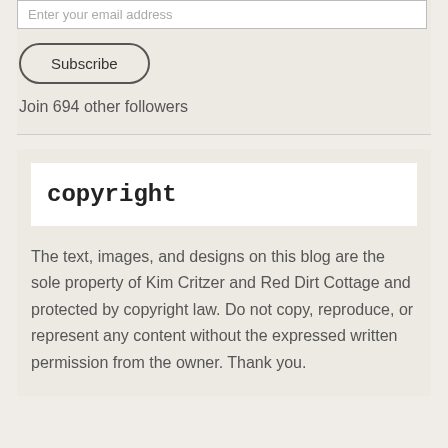Enter your email address
Subscribe
Join 694 other followers
copyright
The text, images, and designs on this blog are the sole property of Kim Critzer and Red Dirt Cottage and protected by copyright law. Do not copy, reproduce, or represent any content without the expressed written permission from the owner. Thank you.